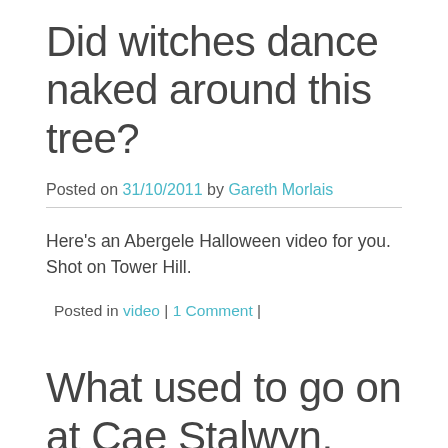Did witches dance naked around this tree?
Posted on 31/10/2011 by Gareth Morlais
Here's an Abergele Halloween video for you. Shot on Tower Hill.
Posted in video | 1 Comment |
What used to go on at Cae Stalwyn, Abergele.